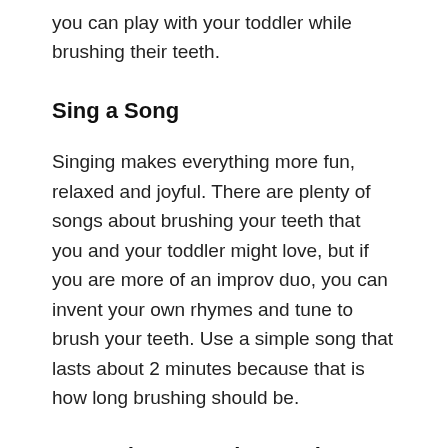you can play with your toddler while brushing their teeth.
Sing a Song
Singing makes everything more fun, relaxed and joyful. There are plenty of songs about brushing your teeth that you and your toddler might love, but if you are more of an improv duo, you can invent your own rhymes and tune to brush your teeth. Use a simple song that lasts about 2 minutes because that is how long brushing should be.
Pretend to Be at the Dentist
Pretend play is always a good way to determine